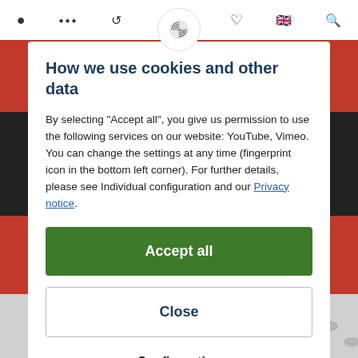Navigation bar with icons
How we use cookies and other data
By selecting "Accept all", you give us permission to use the following services on our website: YouTube, Vimeo. You can change the settings at any time (fingerprint icon in the bottom left corner). For further details, please see Individual configuration and our Privacy notice.
Accept all
Close
Configuration
[Figure (photo): Screws/hardware items visible at the bottom of the page behind the modal]